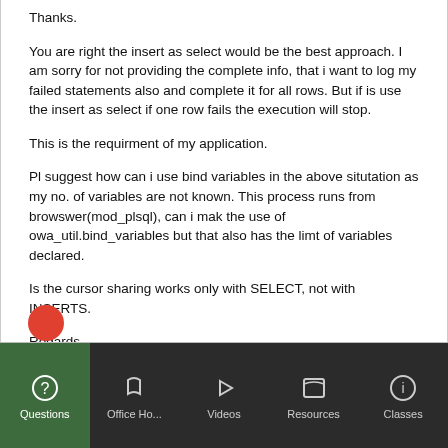Thanks.
You are right the insert as select would be the best approach. I am sorry for not providing the complete info, that i want to log my failed statements also and complete it for all rows. But if is use the insert as select if one row fails the execution will stop.
This is the requirment of my application.
Pl suggest how can i use bind variables in the above situtation as my no. of variables are not known. This process runs from browswer(mod_plsql), can i mak the use of owa_util.bind_variables but that also has the limt of variables declared.
Is the cursor sharing works only with SELECT, not with INSERTS.
Regards,
Vikas Sharma
Questions | Office Ho... | Videos | Resources | Classes